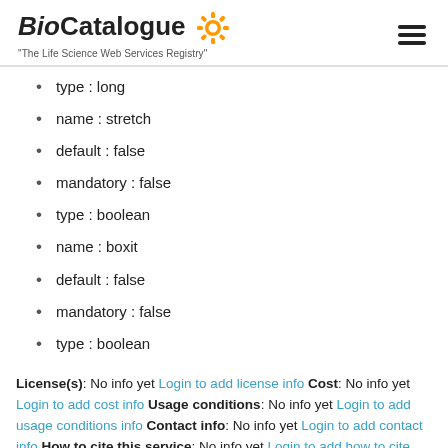BioCatalogue - The Life Science Web Services Registry
type : long
name : stretch
default : false
mandatory : false
type : boolean
name : boxit
default : false
mandatory : false
type : boolean
License(s): No info yet Login to add license info Cost: No info yet Login to add cost info Usage conditions: No info yet Login to add usage conditions info Contact info: No info yet Login to add contact info How to cite this service: No info yet Login to add how to cite info Publications about this service: for this service (this can be in a